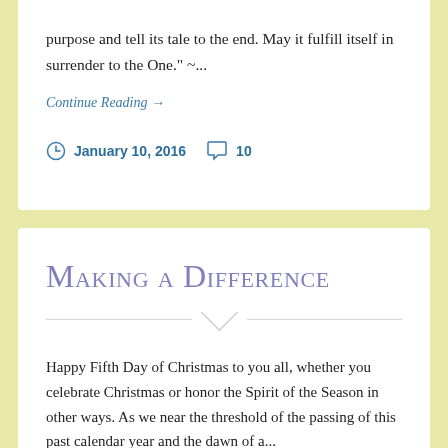purpose and tell its tale to the end. May it fulfill itself in surrender to the One." ~...
Continue Reading →
January 10, 2016   10
Making a Difference
Happy Fifth Day of Christmas to you all, whether you celebrate Christmas or honor the Spirit of the Season in other ways. As we near the threshold of the passing of this past calendar year and the dawn of a...
Continue Reading →